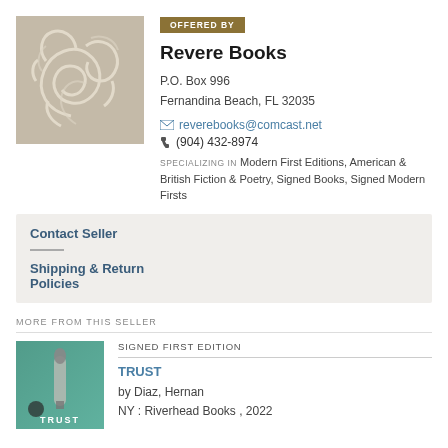[Figure (illustration): Decorative book cover image with a beige/tan background and ornate white swirl/flourish design]
OFFERED BY
Revere Books
P.O. Box 996
Fernandina Beach, FL 32035
reverebooks@comcast.net
(904) 432-8974
SPECIALIZING IN Modern First Editions, American & British Fiction & Poetry, Signed Books, Signed Modern Firsts
Contact Seller
Shipping & Return Policies
MORE FROM THIS SELLER
[Figure (photo): Book cover for TRUST by Hernan Diaz - teal/green background with a metallic pen or rocket shape]
SIGNED FIRST EDITION
TRUST
by Diaz, Hernan
NY : Riverhead Books , 2022